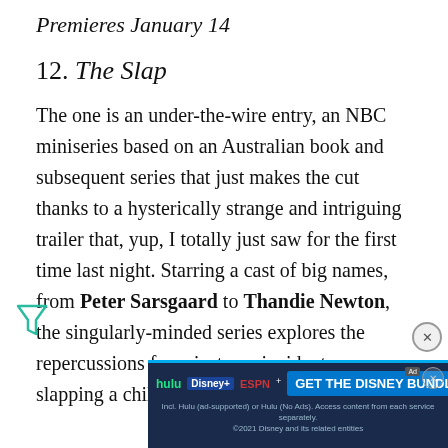Premieres January 14
12. The Slap
The one is an under-the-wire entry, an NBC miniseries based on an Australian book and subsequent series that just makes the cut thanks to a hysterically strange and intriguing trailer that, yup, I totally just saw for the first time last night. Starring a cast of big names, from Peter Sarsgaard to Thandie Newton, the singularly-minded series explores the repercussions from just one incident: a man slapping a child that just so ha... the
[Figure (other): Advertisement banner for Hulu Disney+ ESPN+ GET THE DISNEY BUNDLE. Includes logos for Hulu, Disney+, ESPN+. Subtext: Incl. Hulu (ad-supported) or Hulu (No Ads). Access content from each service separately. ©2021 Disney and its related entities]